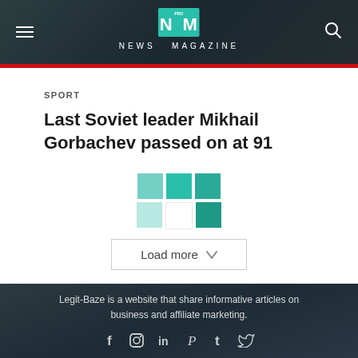NEWS MAGAZINE
SPORT
Last Soviet leader Mikhail Gorbachev passed on at 91
[Figure (other): Loading spinner grid of teal/mint colored squares followed by a Load more button]
Legit-Baze is a website that share informative articles on business and affiliate marketing.